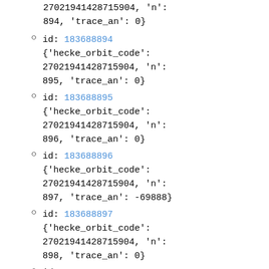27021941428715904, 'n': 894, 'trace_an': 0}
id: 183688894 {'hecke_orbit_code': 27021941428715904, 'n': 895, 'trace_an': 0}
id: 183688895 {'hecke_orbit_code': 27021941428715904, 'n': 896, 'trace_an': 0}
id: 183688896 {'hecke_orbit_code': 27021941428715904, 'n': 897, 'trace_an': -69888}
id: 183688897 {'hecke_orbit_code': 27021941428715904, 'n': 898, 'trace_an': 0}
id: 183688898 {'hecke_orbit_code':